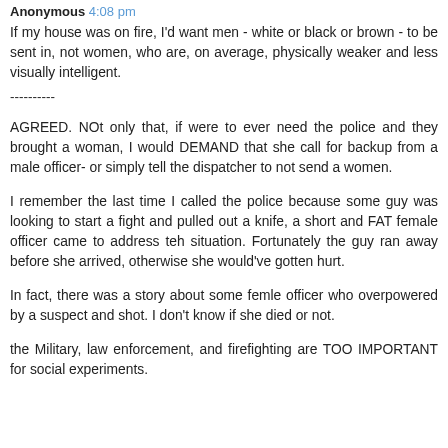Anonymous 4:08 pm
If my house was on fire, I'd want men - white or black or brown - to be sent in, not women, who are, on average, physically weaker and less visually intelligent.
----------
AGREED. NOt only that, if were to ever need the police and they brought a woman, I would DEMAND that she call for backup from a male officer- or simply tell the dispatcher to not send a women.
I remember the last time I called the police because some guy was looking to start a fight and pulled out a knife, a short and FAT female officer came to address teh situation. Fortunately the guy ran away before she arrived, otherwise she would've gotten hurt.
In fact, there was a story about some femle officer who overpowered by a suspect and shot. I don't know if she died or not.
the Military, law enforcement, and firefighting are TOO IMPORTANT for social experiments.